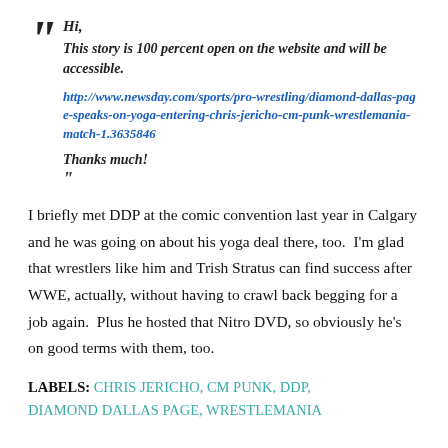Hi,

This story is 100 percent open on the website and will be accessible.

http://www.newsday.com/sports/pro-wrestling/diamond-dallas-page-speaks-on-yoga-entering-chris-jericho-cm-punk-wrestlemania-match-1.3635846

Thanks much!
I briefly met DDP at the comic convention last year in Calgary and he was going on about his yoga deal there, too.  I'm glad that wrestlers like him and Trish Stratus can find success after WWE, actually, without having to crawl back begging for a job again.  Plus he hosted that Nitro DVD, so obviously he's on good terms with them, too.
LABELS: CHRIS JERICHO, CM PUNK, DDP, DIAMOND DALLAS PAGE, WRESTLEMANIA